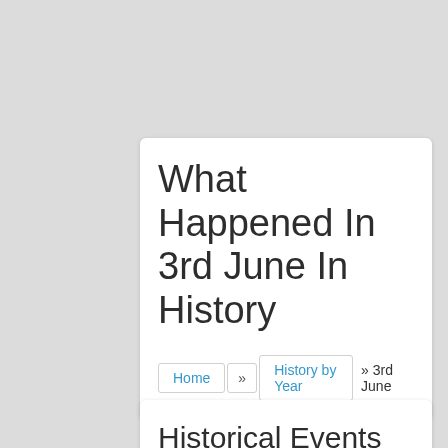What Happened In 3rd June In History
Home » History by Year » 3rd June
Historical Events for June 3rd